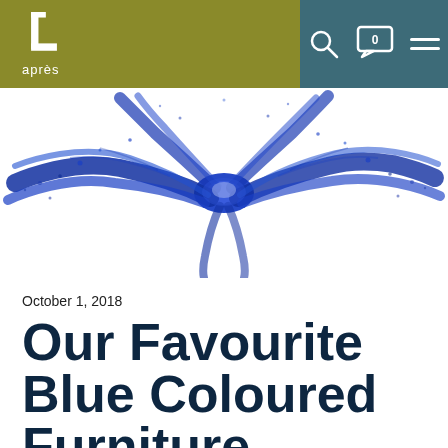après
[Figure (photo): Blue powder explosion on white background, spreading outward like a burst of blue pigment dust]
October 1, 2018
Our Favourite Blue Coloured Furniture